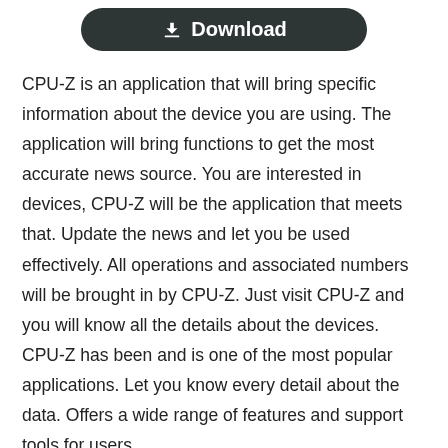[Figure (other): Dark rounded download button with download arrow icon and text 'Download']
CPU-Z is an application that will bring specific information about the device you are using. The application will bring functions to get the most accurate news source. You are interested in devices, CPU-Z will be the application that meets that. Update the news and let you be used effectively. All operations and associated numbers will be brought in by CPU-Z. Just visit CPU-Z and you will know all the details about the devices. CPU-Z has been and is one of the most popular applications. Let you know every detail about the data. Offers a wide range of features and support tools for users.
Contents [Hide]